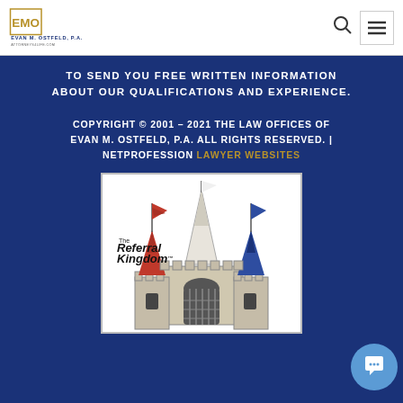EVAN M. OSTFELD, P.A. — logo and navigation
TO SEND YOU FREE WRITTEN INFORMATION ABOUT OUR QUALIFICATIONS AND EXPERIENCE.
COPYRIGHT © 2001 – 2021 THE LAW OFFICES OF EVAN M. OSTFELD, P.A. ALL RIGHTS RESERVED. | NETPROFESSION LAWYER WEBSITES
[Figure (logo): The Referral Kingdom logo — illustrated cartoon castle with red, white, and blue flags]